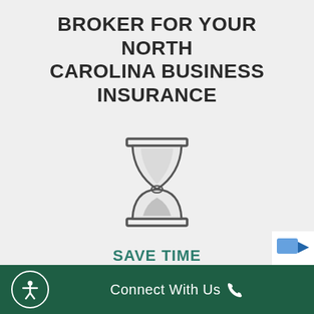BROKER FOR YOUR NORTH CAROLINA BUSINESS INSURANCE
[Figure (illustration): Hourglass icon outline drawing in dark gray, representing time.]
SAVE TIME
You don't need to spend hours or even days doing the research. We do it for you.
Connect With Us